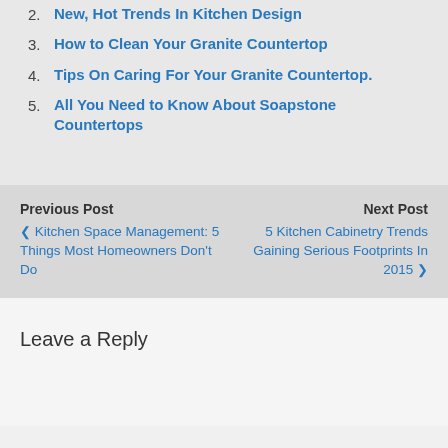2. New, Hot Trends In Kitchen Design
3. How to Clean Your Granite Countertop
4. Tips On Caring For Your Granite Countertop.
5. All You Need to Know About Soapstone Countertops
Previous Post
< Kitchen Space Management: 5 Things Most Homeowners Don't Do
Next Post
5 Kitchen Cabinetry Trends Gaining Serious Footprints In 2015 >
Leave a Reply